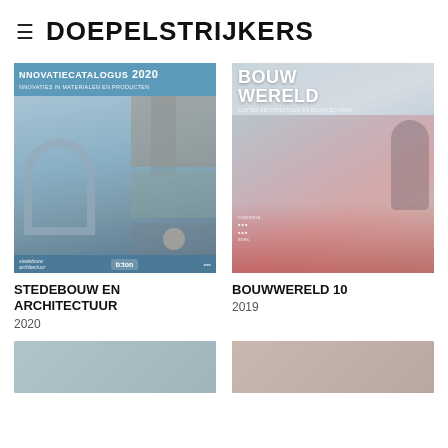≡ DOEPELSTRIJKERS
[Figure (photo): Magazine cover: Innovatiecatalogus 2020 – Innovaties in Materialen en Producten, featuring architectural imagery including a curved arch structure and buildings. Stedebouw Architectuur and b:ton logos at bottom.]
STEDEBOUW EN ARCHITECTUUR
2020
[Figure (photo): Magazine cover: Bouwwereld 10, featuring a red stadium and a person in dark jacket on the right. Subtitle text about architectuur en bouwtechniek.]
BOUWWERELD 10
2019
[Figure (photo): Partial thumbnail of a third magazine cover, cropped at bottom of page.]
[Figure (photo): Partial thumbnail of a fourth magazine cover, cropped at bottom of page.]